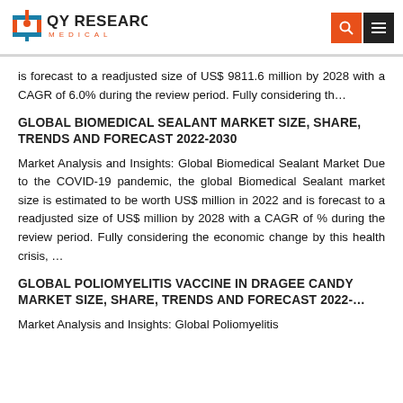QY Research Medical
is forecast to a readjusted size of US$ 9811.6 million by 2028 with a CAGR of 6.0% during the review period. Fully considering th…
GLOBAL BIOMEDICAL SEALANT MARKET SIZE, SHARE, TRENDS AND FORECAST 2022-2030
Market Analysis and Insights: Global Biomedical Sealant Market Due to the COVID-19 pandemic, the global Biomedical Sealant market size is estimated to be worth US$ million in 2022 and is forecast to a readjusted size of US$ million by 2028 with a CAGR of % during the review period. Fully considering the economic change by this health crisis, …
GLOBAL POLIOMYELITIS VACCINE IN DRAGEE CANDY MARKET SIZE, SHARE, TRENDS AND FORECAST 2022-…
Market Analysis and Insights: Global Poliomyelitis